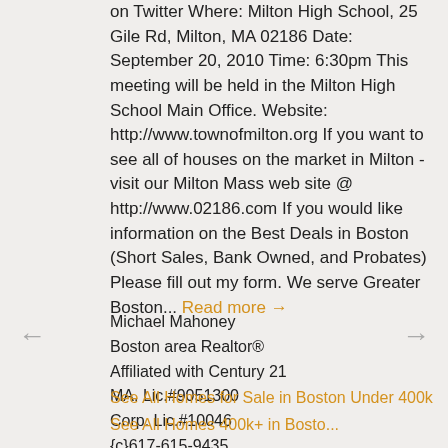on Twitter Where: Milton High School, 25 Gile Rd, Milton, MA 02186 Date: September 20, 2010 Time: 6:30pm This meeting will be held in the Milton High School Main Office. Website: http://www.townofmilton.org If you want to see all of houses on the market in Milton - visit our Milton Mass web site @ http://www.02186.com If you would like information on the Best Deals in Boston (Short Sales, Bank Owned, and Probates) Please fill out my form. We serve Greater Boston... Read more →
Michael Mahoney
Boston area Realtor®
Affiliated with Century 21
MA. Lic.#9051300
Corp. Lic.#10046
{c}617-615-9435
{e}mike@mmahoney.com
{w}www.RealtorMikeMahoney.com
See All Homes for Sale in Boston Under 400k
See All Homes 400k+ in Boston...